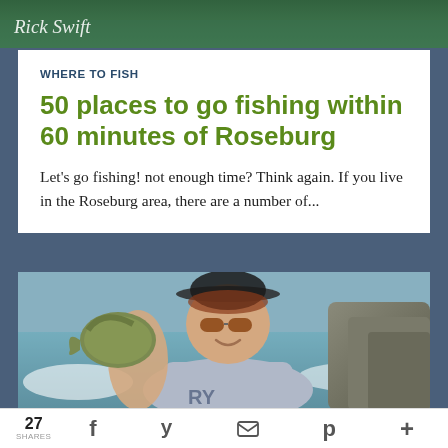[Figure (photo): Partial top image strip showing cursive text 'Rick Swift' or similar in white on a green/nature background]
WHERE TO FISH
50 places to go fishing within 60 minutes of Roseburg
Let's go fishing! not enough time? Think again. If you live in the Roseburg area, there are a number of...
[Figure (photo): Man wearing sunglasses and a hat holding up a large fish (smallmouth bass) near a rocky river]
27 SHARES  f  y  [mail]  p  +